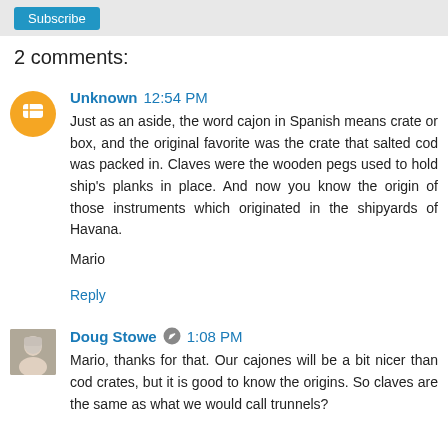2 comments:
Unknown 12:54 PM
Just as an aside, the word cajon in Spanish means crate or box, and the original favorite was the crate that salted cod was packed in. Claves were the wooden pegs used to hold ship's planks in place. And now you know the origin of those instruments which originated in the shipyards of Havana.

Mario

Reply
Doug Stowe 1:08 PM
Mario, thanks for that. Our cajones will be a bit nicer than cod crates, but it is good to know the origins. So claves are the same as what we would call trunnels?